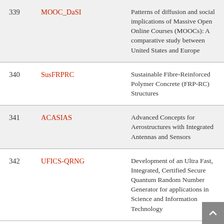| # | Code | Description |
| --- | --- | --- |
| 339 | MOOC_DaSI | Patterns of diffusion and social implications of Massive Open Online Courses (MOOCs): A comparative study between United States and Europe |
| 340 | SusFRPRC | Sustainable Fibre-Reinforced Polymer Concrete (FRP-RC) Structures |
| 341 | ACASIAS | Advanced Concepts for Aerostructures with Integrated Antennas and Sensors |
| 342 | UFICS-QRNG | Development of an Ultra Fast, Integrated, Certified Secure Quantum Random Number Generator for applications in Science and Information Technology |